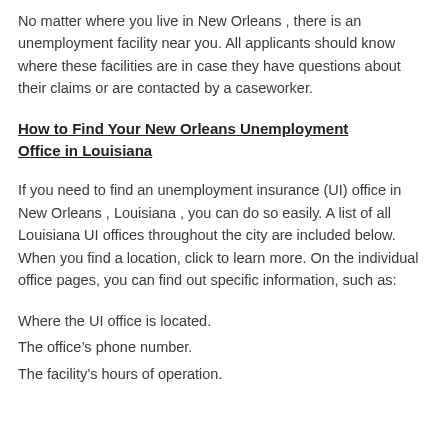No matter where you live in New Orleans , there is an unemployment facility near you. All applicants should know where these facilities are in case they have questions about their claims or are contacted by a caseworker.
How to Find Your New Orleans Unemployment Office in Louisiana
If you need to find an unemployment insurance (UI) office in New Orleans , Louisiana , you can do so easily. A list of all Louisiana UI offices throughout the city are included below. When you find a location, click to learn more. On the individual office pages, you can find out specific information, such as:
Where the UI office is located.
The office’s phone number.
The facility’s hours of operation.